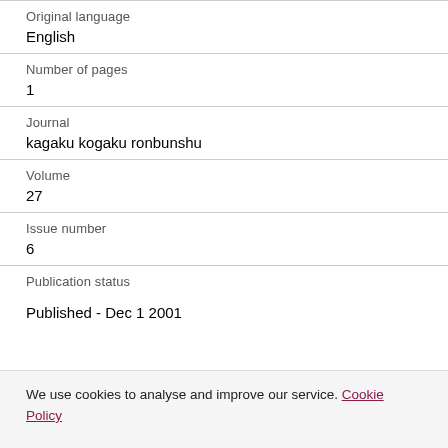Original language
English
Number of pages
1
Journal
kagaku kogaku ronbunshu
Volume
27
Issue number
6
Publication status
Published - Dec 1 2001
We use cookies to analyse and improve our service. Cookie Policy